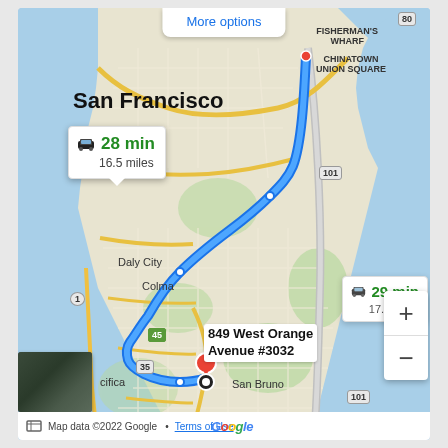[Figure (map): Google Maps screenshot showing driving directions from an origin in San Francisco to 849 West Orange Avenue #3032, with route highlighted in blue. Shows San Francisco Bay Area including San Francisco, Daly City, Colma, San Bruno, and Pacifica. Two route options shown: 28 min / 16.5 miles (selected) and 29 min / 17.6 miles (alternate). Map data ©2022 Google.]